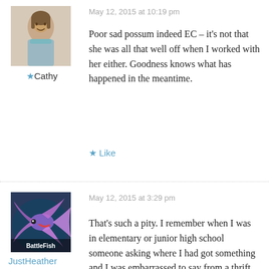[Figure (photo): Profile photo of a woman, avatar for user Cathy]
★Cathy
May 12, 2015 at 10:19 pm
Poor sad possum indeed EC – it's not that she was all that well off when I worked with her either. Goodness knows what has happened in the meantime.
★ Like
[Figure (photo): Profile photo of a colorful betta fish, avatar for user JustHeather, with text overlay 'BattleFish']
JustHeather
May 12, 2015 at 3:29 pm
That's such a pity. I remember when I was in elementary or junior high school someone asking where I had got something and I was embarrassed to say from a thrift store. However, I have since gotten over it and started a love of 2nd hand shopping! Especially in high school (and beyond) sho